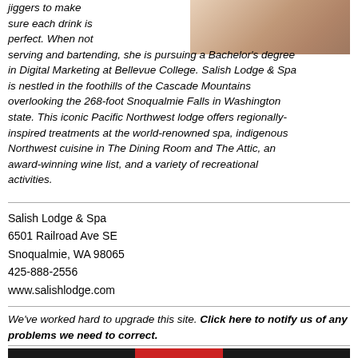[Figure (photo): Partial photo of a person (blonde hair visible), cropped at top right]
jiggers to make sure each drink is perfect. When not serving and bartending, she is pursuing a Bachelor's degree in Digital Marketing at Bellevue College. Salish Lodge & Spa is nestled in the foothills of the Cascade Mountains overlooking the 268-foot Snoqualmie Falls in Washington state. This iconic Pacific Northwest lodge offers regionally-inspired treatments at the world-renowned spa, indigenous Northwest cuisine in The Dining Room and The Attic, an award-winning wine list, and a variety of recreational activities.
Salish Lodge & Spa
6501 Railroad Ave SE
Snoqualmie, WA 98065
425-888-2556
www.salishlodge.com
We've worked hard to upgrade this site. Click here to notify us of any problems we need to correct.
[Figure (other): Footer banner with snowflake pattern on dark background and red/blue colored center blocks]